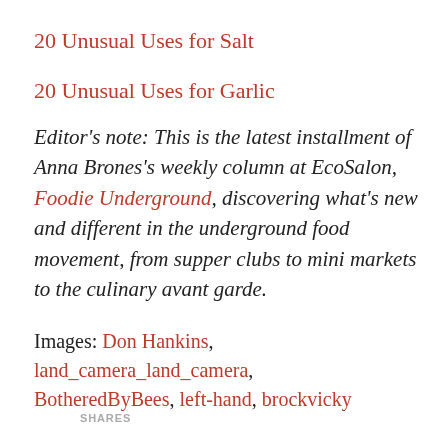20 Unusual Uses for Salt
20 Unusual Uses for Garlic
Editor's note: This is the latest installment of Anna Brones's weekly column at EcoSalon, Foodie Underground, discovering what's new and different in the underground food movement, from supper clubs to mini markets to the culinary avant garde.
Images: Don Hankins, land_camera_land_camera, BotheredByBees, left-hand, brockvicky
SHARES